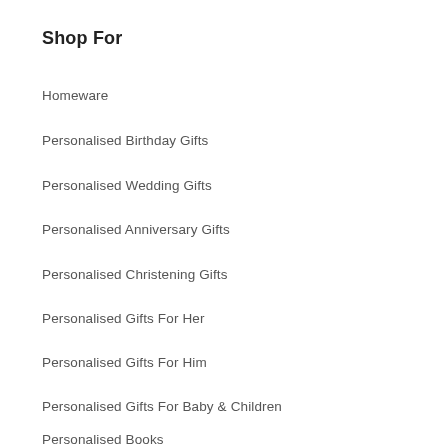Shop For
Homeware
Personalised Birthday Gifts
Personalised Wedding Gifts
Personalised Anniversary Gifts
Personalised Christening Gifts
Personalised Gifts For Her
Personalised Gifts For Him
Personalised Gifts For Baby & Children
Personalised Books